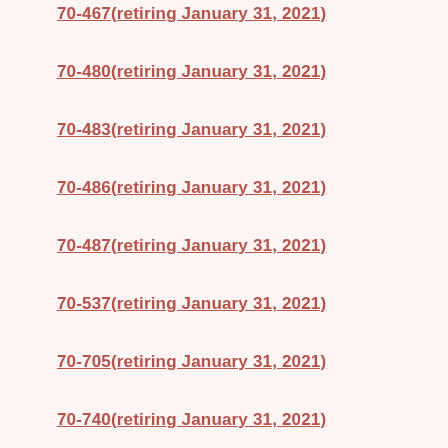70-467(retiring January 31, 2021)
70-480(retiring January 31, 2021)
70-483(retiring January 31, 2021)
70-486(retiring January 31, 2021)
70-487(retiring January 31, 2021)
70-537(retiring January 31, 2021)
70-705(retiring January 31, 2021)
70-740(retiring January 31, 2021)
70-741(retiring January 31, 2021)
70-742(retiring January 31, 2021)